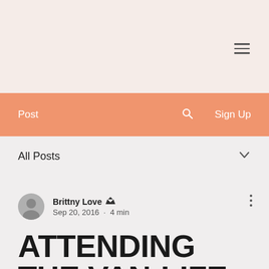≡
Post  🔍  Sign Up
All Posts
Brittny Love 👑  Sep 20, 2016 · 4 min
ATTENDING THE VAN-LIFE GATHERING IN COLORADO
Updated: Mar 26, 2019
Even though I had started writing for about...